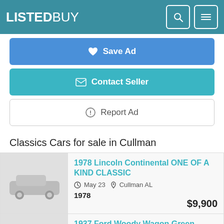LISTEDBUY
Save Ad
Contact Seller
Report Ad
Classics Cars for sale in Cullman
1978 Lincoln Continental ONE OF A KIND CLASSIC
May 23  Cullman AL
1978
$9,900
1937 Ford Woody Wagon Green
May 15  Cullman AL
1937